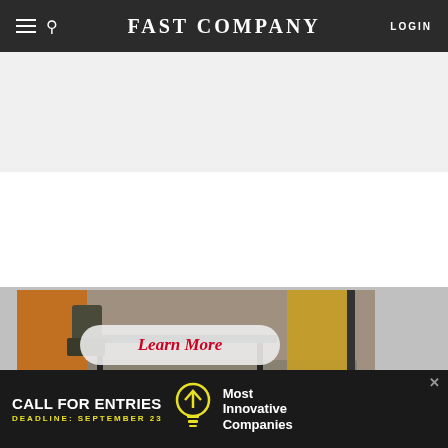FAST COMPANY — LOGIN
[Figure (screenshot): Fast Company website screenshot showing navigation bar, advertisement placeholder area, a partial interior design image with chairs and colored panels, a Learn More button overlay, and a bottom advertisement banner for Most Innovative Companies with CALL FOR ENTRIES and DEADLINE: SEPTEMBER 23]
Learn More
CALL FOR ENTRIES DEADLINE: SEPTEMBER 23 Most Innovative Companies